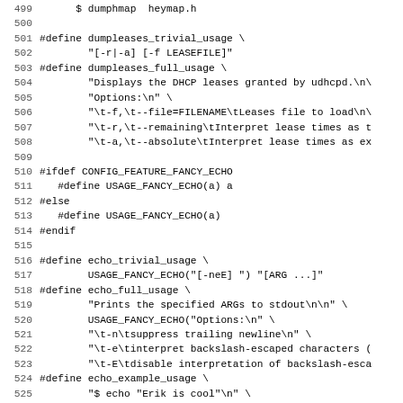[Figure (screenshot): Source code listing lines 499-531 showing C preprocessor #define macros for dumpleases and echo command usage strings, and #ifdef CONFIG_FEATURE_FANCY_ECHO conditional compilation block.]